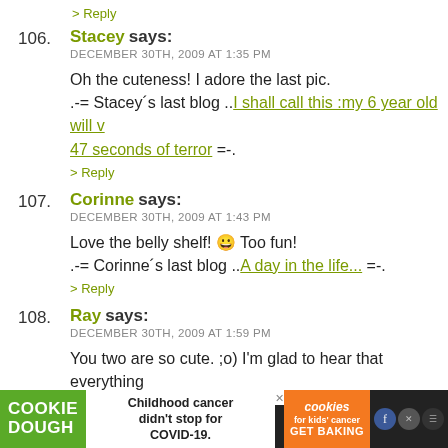> Reply
106. Stacey says:
DECEMBER 30TH, 2009 AT 1:35 PM

Oh the cuteness! I adore the last pic.
.-= Stacey's last blog ..I shall call this :my 6 year old will v... 47 seconds of terror =-.

> Reply
107. Corinne says:
DECEMBER 30TH, 2009 AT 1:43 PM

Love the belly shelf! :) Too fun!
.-= Corinne's last blog ..A day in the life... =-.

> Reply
108. Ray says:
DECEMBER 30TH, 2009 AT 1:59 PM

You two are so cute. ;o) I'm glad to hear that everything
[Figure (screenshot): Advertisement banner at the bottom: Cookie Dough green logo on left, 'Childhood cancer didn't stop for COVID-19.' text in middle on white background, orange 'cookies for kids cancer GET BAKING' section on right, with close X button and social media icons.]